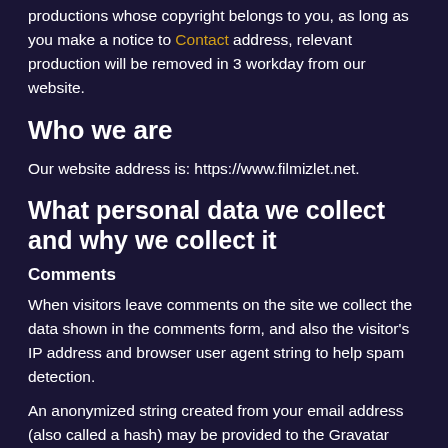productions whose copyright belongs to you, as long as you make a notice to Contact address, relevant production will be removed in 3 workday from our website.
Who we are
Our website address is: https://www.filmizlet.net.
What personal data we collect and why we collect it
Comments
When visitors leave comments on the site we collect the data shown in the comments form, and also the visitor's IP address and browser user agent string to help spam detection.
An anonymized string created from your email address (also called a hash) may be provided to the Gravatar service to see if you are using it. The Gravatar service privacy policy is available here: https://automattic.com/privacy/. After approval of your comment, your profile picture is visible to the public in the context of your comment.